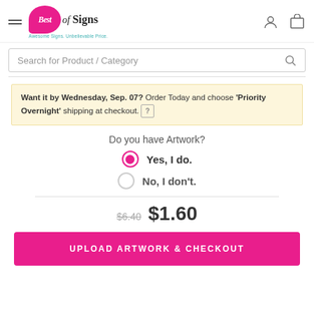[Figure (logo): Best of Signs logo with pink speech bubble and tagline 'Awesome Signs. Unbelievable Price.']
Search for Product / Category
Want it by Wednesday, Sep. 07? Order Today and choose 'Priority Overnight' shipping at checkout.
Do you have Artwork?
Yes, I do.
No, I don't.
$6.40  $1.60
UPLOAD ARTWORK & CHECKOUT